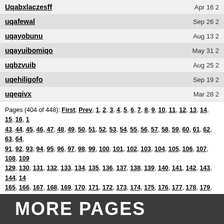| Name | Date |
| --- | --- |
| Uqabxlaczesff | Apr 16 2 |
| uqafewal | Sep 26 2 |
| uqayobunu | Aug 13 2 |
| uqayuibomiqo | May 31 2 |
| uqbzvuib | Aug 25 2 |
| uqehiligofo | Sep 19 2 |
| uqeqivx | Mar 28 2 |
Pages (404 of 448): First, Prev, 1, 2, 3, 4, 5, 6, 7, 8, 9, 10, 11, 12, 13, 14, 15, 16, 1... 43, 44, 45, 46, 47, 48, 49, 50, 51, 52, 53, 54, 55, 56, 57, 58, 59, 60, 61, 62, 63, 64,... 91, 92, 93, 94, 95, 96, 97, 98, 99, 100, 101, 102, 103, 104, 105, 106, 107, 108, 109... 129, 130, 131, 132, 133, 134, 135, 136, 137, 138, 139, 140, 141, 142, 143, 144, 14... 165, 166, 167, 168, 169, 170, 171, 172, 173, 174, 175, 176, 177, 178, 179, 180, 18... 201, 202, 203, 204, 205, 206, 207, 208, 209, 210, 211, 212, 213, 214, 215, 216, 21... 237, 238, 239, 240, 241, 242, 243, 244, 245, 246, 247, 248, 249, 250, 251, 252, 25... 273, 274, 275, 276, 277, 278, 279, 280, 281, 282, 283, 284, 285, 286, 287, 288, 28... 309, 310, 311, 312, 313, 314, 315, 316, 317, 318, 319, 320, 321, 322, 323, 324, 32... 345, 346, 347, 348, 349, 350, 351, 352, 353, 354, 355, 356, 357, 358, 359, 360, 36... 381, 382, 383, 384, 385, 386, 387, 388, 389, 390, 391, 392, 393, 394, 395, 396, 39... 417, 418, 419, 420, 421, 422, 423, 424, 425, 426, 427, 428, 429, 430, 431, 432, 43...
44754 registered members.
Showing 100 members per page.
MORE PAGES